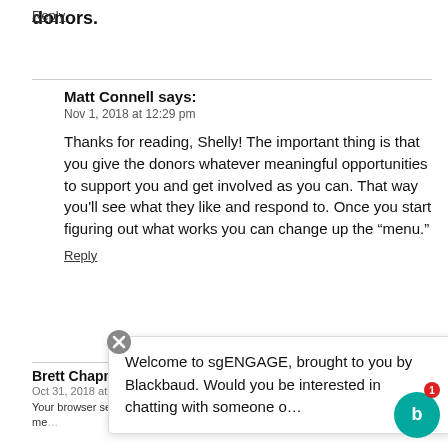donors.
Reply
Matt Connell says:
Nov 1, 2018 at 12:29 pm
Thanks for reading, Shelly! The important thing is that you give the donors whatever meaningful opportunities to support you and get involved as you can. That way you'll see what they like and respond to. Once you start figuring out what works you can change up the “menu.”
Reply
Brett Chapm...
Oct 31, 2018 at...
Your browser settings do not allow AdRoll to use cross-site tracking. You can opt in by clicking here. This me...
Welcome to sgENGAGE, brought to you by Blackbaud. Would you be interested in chatting with someone o...